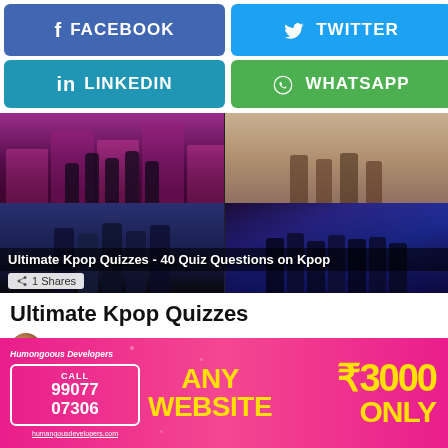[Figure (screenshot): Facebook share button (blue) and Twitter share button (light blue) side by side]
[Figure (screenshot): LinkedIn share button (blue) and WhatsApp share button (green) side by side]
[Figure (photo): Grid of four Kpop group photos with overlay title 'Ultimate Kpop Quizzes - 40 Quiz Questions on Kpop' and '1 Shares']
Ultimate Kpop Quizzes
by Supriti Thapa • 2 months ago
[Figure (infographic): Advertisement banner: Humongoous Developers - ANY WEBSITE ₹3000 ONLY - CALL 99077 07306 - humangousdevelopers.com]